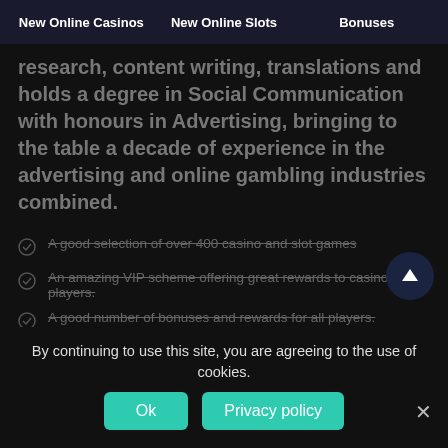New Online Casinos | New Online Slots | Bonuses
research, content writing, translations and holds a degree in Social Communication with honours in Advertising, bringing to the table a decade of experience in the advertising and online gambling industries combined.
A good selection of over 400 casino and slot games
An amazing VIP scheme offering great rewards to casino's top players.
A good number of bonuses and rewards for all players.
Limited payment options available.
(partial faded text at bottom)
By continuing to use this site, you are agreeing to the use of cookies.